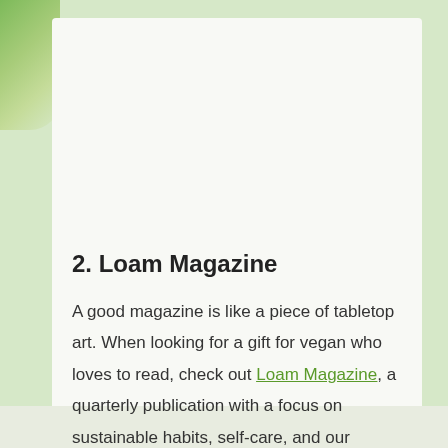2. Loam Magazine
A good magazine is like a piece of tabletop art. When looking for a gift for vegan who loves to read, check out Loam Magazine, a quarterly publication with a focus on sustainable habits, self-care, and our relationship to the earth.